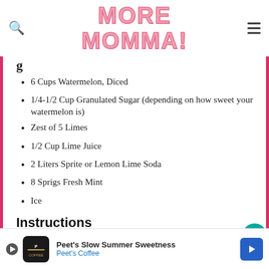MORE MOMMA!
6 Cups Watermelon, Diced
1/4-1/2 Cup Granulated Sugar (depending on how sweet your watermelon is)
Zest of 5 Limes
1/2 Cup Lime Juice
2 Liters Sprite or Lemon Lime Soda
8 Sprigs Fresh Mint
Ice
Instructions
Peet's Slow Summer Sweetness Peet's Coffee